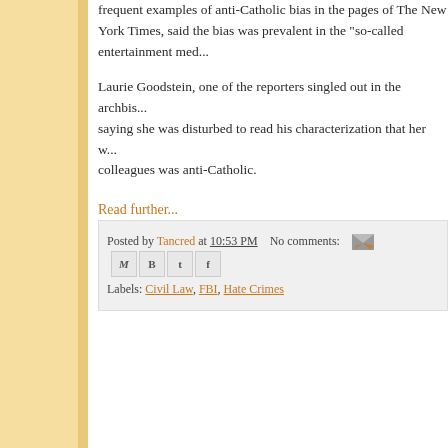frequent examples of anti-Catholic bias in the pages of The New York Times, said the bias was prevalent in the "so-called entertainment media."
Laurie Goodstein, one of the reporters singled out in the archbishop's letter, saying she was disturbed to read his characterization that her work and her colleagues was anti-Catholic.
Read further...
Posted by Tancred at 10:53 PM   No comments:   Labels: Civil Law, FBI, Hate Crimes